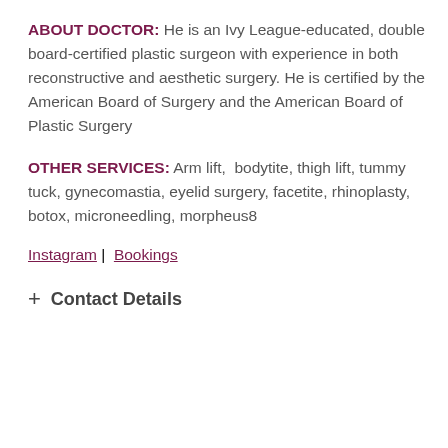ABOUT DOCTOR: He is an Ivy League-educated, double board-certified plastic surgeon with experience in both reconstructive and aesthetic surgery. He is certified by the American Board of Surgery and the American Board of Plastic Surgery
OTHER SERVICES: Arm lift, bodytite, thigh lift, tummy tuck, gynecomastia, eyelid surgery, facetite, rhinoplasty, botox, microneedling, morpheus8
Instagram | Bookings
+ Contact Details